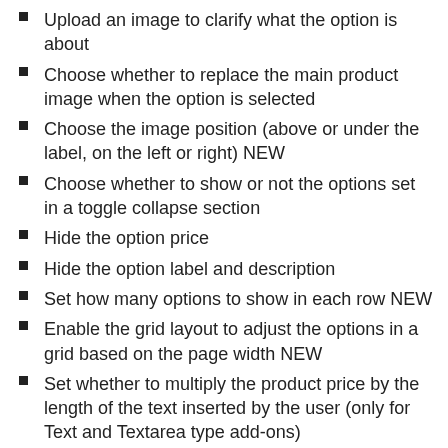Upload an image to clarify what the option is about
Choose whether to replace the main product image when the option is selected
Choose the image position (above or under the label, on the left or right) NEW
Choose whether to show or not the options set in a toggle collapse section
Hide the option price
Hide the option label and description
Set how many options to show in each row NEW
Enable the grid layout to adjust the options in a grid based on the page width NEW
Set whether to multiply the product price by the length of the text inserted by the user (only for Text and Textarea type add-ons)
Set whether to multiply the product price by the quantity the user selects for a certain option (only for “number” type add-ons)